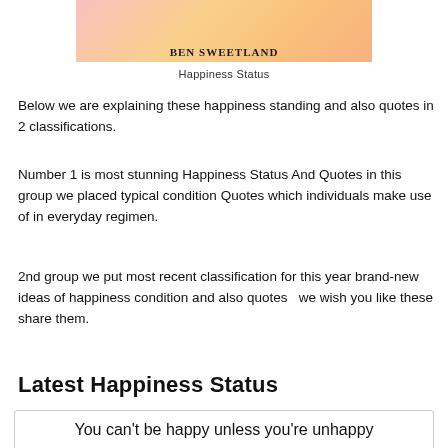[Figure (illustration): Book cover image with pink/orange sky gradient background and author name 'Ben Sweetland' visible at top]
Happiness Status
Below we are explaining these happiness standing and also quotes in 2 classifications.
Number 1 is most stunning Happiness Status And Quotes in this group we placed typical condition Quotes which individuals make use of in everyday regimen.
2nd group we put most recent classification for this year brand-new ideas of happiness condition and also quotes  we wish you like these share them.
Latest Happiness Status
You can't be happy unless you're unhappy